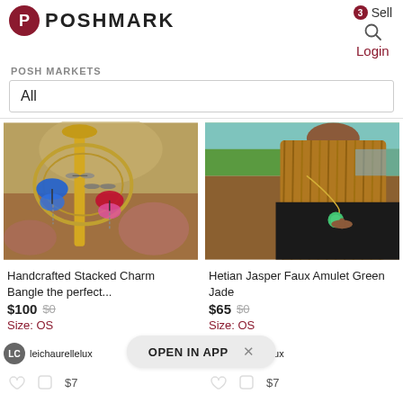[Figure (screenshot): Poshmark website header with logo, Sell button with badge, search icon, and Login link]
POSH MARKETS
All
[Figure (photo): Handcrafted stacked charm bangle jewelry with butterfly and dragonfly charms in blue, red, and pink on a gold display stand]
[Figure (photo): Woman wearing a green jade amulet necklace on a gold chain, with long braided hair]
Handcrafted Stacked Charm Bangle the perfect...
$100  $0
Size: OS
Hetian Jasper Faux Amulet Green Jade
$65  $0
Size: OS
leichaurellelux
chaurellelux
OPEN IN APP  ×